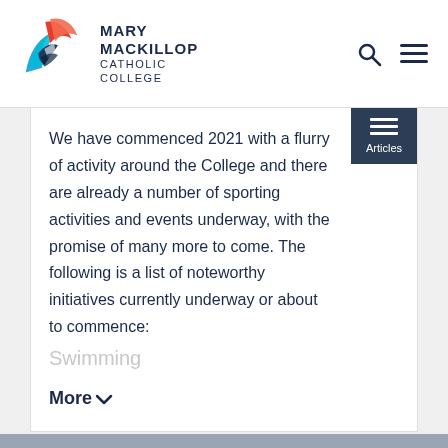Mary MacKillop Catholic College
We have commenced 2021 with a flurry of activity around the College and there are already a number of sporting activities and events underway, with the promise of many more to come. The following is a list of noteworthy initiatives currently underway or about to commence:
Swimming
More